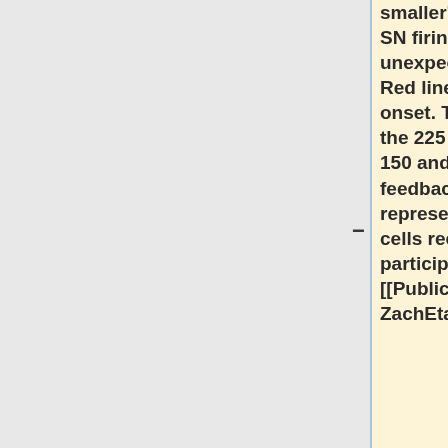smaller">|Fig. 6: ""Normalized SN firing rates"" for unexpected gains and losses. Red line indicates feedback onset. The gray region marks the 225 ms interval between 150 and 375 ms after feedback onset. Traces represent activity from 15 SN cells recorded from ten participants. (Figure from [[Publications#ZachEtal99|Zac